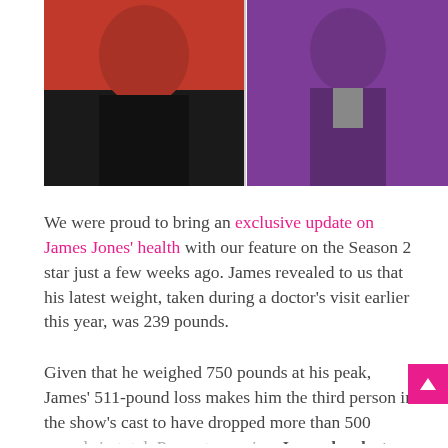[Figure (photo): Before and after photos side by side: left shows a person in a red top with dark pants (heavier), right shows a person in a purple jacket (thinner)]
We were proud to bring an exclusive update on James Jones' health with our feature on the Season 2 star just a few weeks ago. James revealed to us that his latest weight, taken during a doctor's visit earlier this year, was 239 pounds.
Given that he weighed 750 pounds at his peak, James' 511-pound loss makes him the third person in the show's cast to have dropped more than 500 pounds in total. Percentage-wise, James has lost